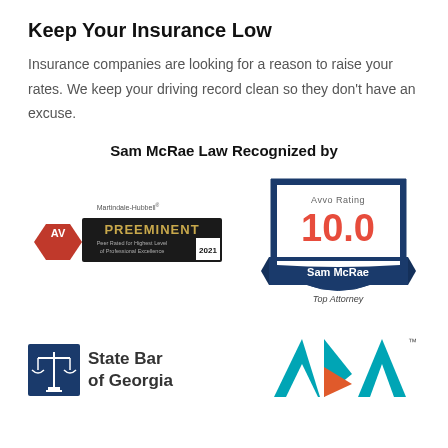Keep Your Insurance Low
Insurance companies are looking for a reason to raise your rates. We keep your driving record clean so they don't have an excuse.
Sam McRae Law Recognized by
[Figure (logo): Martindale-Hubbell AV Preeminent 2021 badge — red/black hexagonal badge with text 'AV PREEMINENT, Peer Rated for Highest Level of Professional Excellence, 2021']
[Figure (logo): Avvo Rating 10.0 badge — blue shield shape with text 'Avvo Rating 10.0, Sam McRae, Top Attorney']
[Figure (logo): State Bar of Georgia logo — scales of justice icon with text 'State Bar of Georgia']
[Figure (logo): ABA (American Bar Association) logo — teal and orange triangular letters 'ABA' with TM mark]